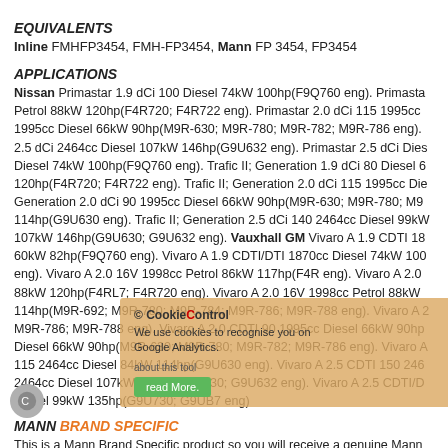EQUIVALENTS
Inline FMHFP3454, FMH-FP3454, Mann FP 3454, FP3454
APPLICATIONS
Nissan Primastar 1.9 dCi 100 Diesel 74kW 100hp(F9Q760 eng). Primastar 2.0 dCi 115 1995cc Petrol 88kW 120hp(F4R720; F4R722 eng). Primastar 2.0 dCi 115 1995cc Diesel 66kW 90hp(M9R-630; M9R-780; M9R-782; M9R-786 eng). 2.5 dCi 2464cc Diesel 107kW 146hp(G9U632 eng). Primastar 2.5 dCi Diesel 74kW 100hp(F9Q760 eng). Trafic II; Generation 1.9 dCi 80 Diesel 6 120hp(F4R720; F4R722 eng). Trafic II; Generation 2.0 dCi 115 1995cc Die Generation 2.0 dCi 90 1995cc Diesel 66kW 90hp(M9R-630; M9R-780; M9 114hp(G9U630 eng). Trafic II; Generation 2.5 dCi 140 2464cc Diesel 99kW 107kW 146hp(G9U630; G9U632 eng). Vauxhall GM Vivaro A 1.9 CDTI 18 60kW 82hp(F9Q760 eng). Vivaro A 1.9 CDTI/DTI 1870cc Diesel 74kW 100 eng). Vivaro A 2.0 16V 1998cc Petrol 86kW 117hp(F4R eng). Vivaro A 2.0 88kW 120hp(F4RL7; F4R720 eng). Vivaro A 2.0 16V 1998cc Petrol 88kW 114hp(M9R-692; M9R-780; M9R-784; M9R-786; M9R-788 eng). Vivaro A 2 M9R-786; M9R-788 eng). Vivaro A 2.0 CDTI 90 1995cc Diesel 66kW 90hp Diesel 66kW 90hp(M9R-630; M9R-780; M9R-782; M9R-786 eng). Vivaro A 115 2464cc Diesel 84kW 114hp(G9U630 eng). Vivaro A 2.5 CDTI 150 246 2464cc Diesel 107kW 146hp(G9U630; G9U632 eng). Vivaro A 2.5 CDTI/D Diesel 99kW 135hp(G9U730; G9UB7 eng)
MANN BRAND SPECIFIC
This is a Mann Brand Specific product so you will receive a genuine Mann Numbers with FMH- is to separate them out within our catalogue and intern If our Stock Level shown above is Zero then this is a Special Order item, o
NN INFORMATION